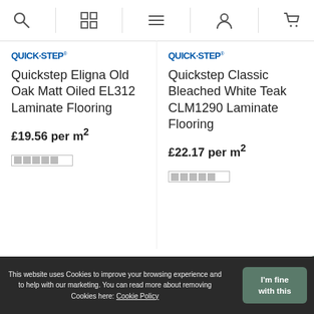Navigation bar with search, grid, menu, account, and cart icons
[Figure (logo): QUICK-STEP brand logo, blue bold text]
Quickstep Eligna Old Oak Matt Oiled EL312 Laminate Flooring
£19.56 per m²
[Figure (logo): QUICK-STEP brand logo, blue bold text]
Quickstep Classic Bleached White Teak CLM1290 Laminate Flooring
£22.17 per m²
[Figure (logo): Quick-Step logo with diagonal stripes]
[Figure (logo): Balterio logo in navy blue box]
[Figure (logo): E EGGER logo with red bar and E mark]
This website uses Cookies to improve your browsing experience and to help with our marketing. You can read more about removing Cookies here: Cookie Policy
I'm fine with this